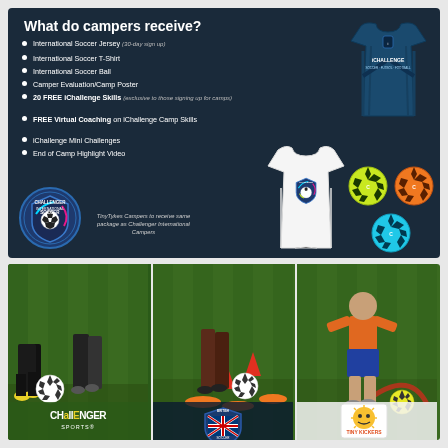What do campers receive?
International Soccer Jersey (30-day sign up)
International Soccer T-Shirt
International Soccer Ball
Camper Evaluation/Camp Poster
20 FREE iChallenge Skills (exclusive to those signing up for camps)
FREE Virtual Coaching on iChallenge Camp Skills
iChallenge Mini Challenges
End of Camp Highlight Video
[Figure (illustration): Challenger International Soccer logo (circular badge with soccer ball and swoosh design)]
TinyTykes Campers to receive same package as Challenger International Campers
[Figure (photo): Three panel image showing soccer camp activities: players dribbling soccer balls on grass field, with Challenger Sports, British Soccer, and Tiny Kickers logos at bottom of each panel]